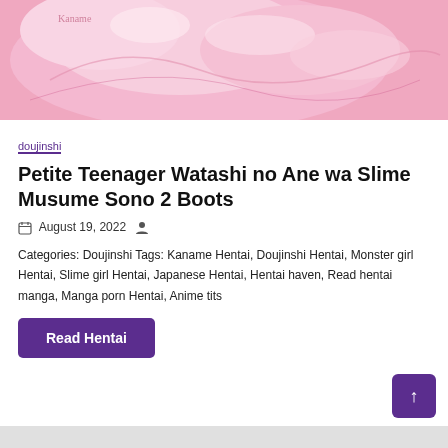[Figure (illustration): Pink slime/fluid illustration with a signature, artistic anime-style artwork in pink tones]
doujinshi
Petite Teenager Watashi no Ane wa Slime Musume Sono 2 Boots
August 19, 2022
Categories: Doujinshi Tags: Kaname Hentai, Doujinshi Hentai, Monster girl Hentai, Slime girl Hentai, Japanese Hentai, Hentai haven, Read hentai manga, Manga porn Hentai, Anime tits
Read Hentai